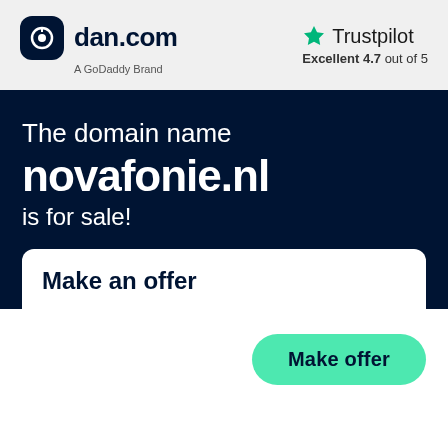[Figure (logo): dan.com logo with dark navy rounded square icon and text 'dan.com', subtitle 'A GoDaddy Brand']
[Figure (logo): Trustpilot logo with green star icon, text 'Trustpilot', rating 'Excellent 4.7 out of 5']
The domain name novafonie.nl is for sale!
Make an offer
Make offer